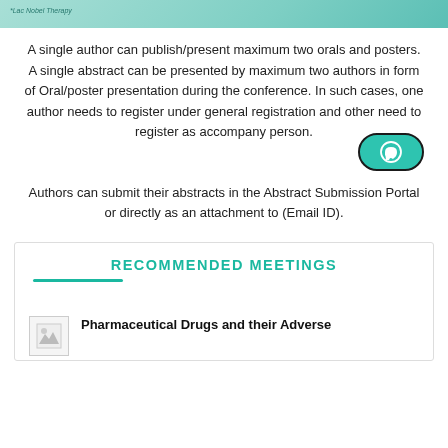*Lac Nobel Therapy... [conference link]
A single author can publish/present maximum two orals and posters. A single abstract can be presented by maximum two authors in form of Oral/poster presentation during the conference. In such cases, one author needs to register under general registration and other need to register as accompany person.
[Figure (illustration): WhatsApp button icon — teal rounded pill with WhatsApp phone handset icon inside]
Authors can submit their abstracts in the Abstract Submission Portal or directly as an attachment to (Email ID).
RECOMMENDED MEETINGS
[Figure (photo): Small thumbnail image placeholder for a meeting]
Pharmaceutical Drugs and their Adverse